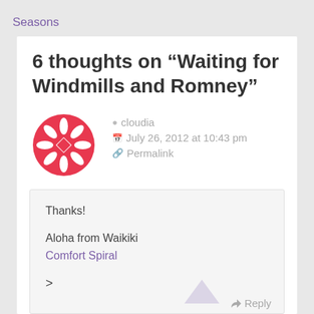Seasons
6 thoughts on “Waiting for Windmills and Romney”
cloudia
July 26, 2012 at 10:43 pm
Permalink
Thanks!

Aloha from Waikiki
Comfort Spiral

>
Reply